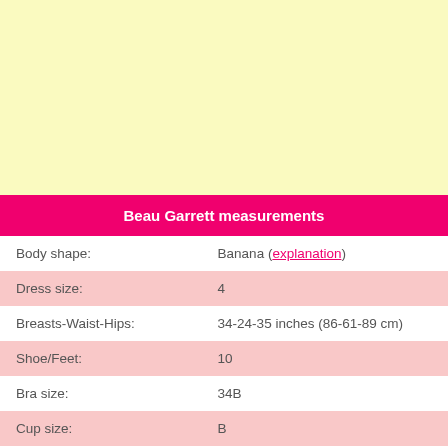[Figure (other): Light yellow background area at top of page]
| Beau Garrett measurements |  |
| --- | --- |
| Body shape: | Banana (explanation) |
| Dress size: | 4 |
| Breasts-Waist-Hips: | 34-24-35 inches (86-61-89 cm) |
| Shoe/Feet: | 10 |
| Bra size: | 34B |
| Cup size: | B |